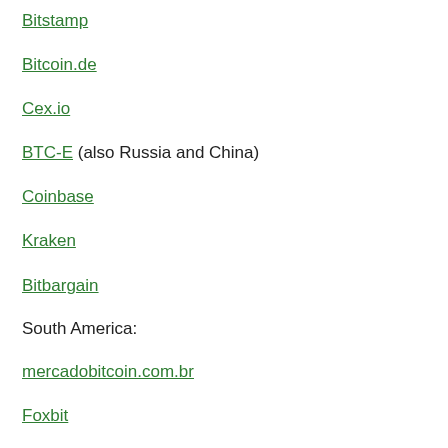Bitstamp
Bitcoin.de
Cex.io
BTC-E (also Russia and China)
Coinbase
Kraken
Bitbargain
South America:
mercadobitcoin.com.br
Foxbit